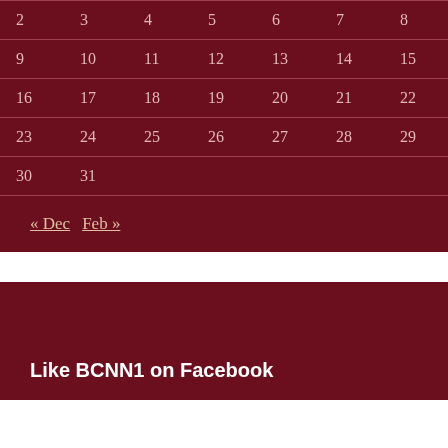| 2 | 3 | 4 | 5 | 6 | 7 | 8 |
| 9 | 10 | 11 | 12 | 13 | 14 | 15 |
| 16 | 17 | 18 | 19 | 20 | 21 | 22 |
| 23 | 24 | 25 | 26 | 27 | 28 | 29 |
| 30 | 31 |  |  |  |  |  |
« Dec   Feb »
Like BCNN1 on Facebook